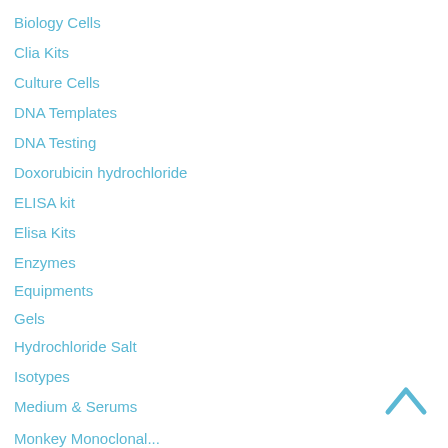Biology Cells
Clia Kits
Culture Cells
DNA Templates
DNA Testing
Doxorubicin hydrochloride
ELISA kit
Elisa Kits
Enzymes
Equipments
Gels
Hydrochloride Salt
Isotypes
Medium & Serums
Monkey Monoclonal...